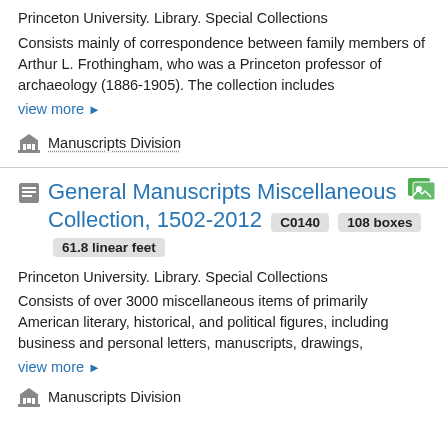Princeton University. Library. Special Collections
Consists mainly of correspondence between family members of Arthur L. Frothingham, who was a Princeton professor of archaeology (1886-1905). The collection includes
view more ▶
Manuscripts Division
General Manuscripts Miscellaneous Collection, 1502-2012
C0140
108 boxes
61.8 linear feet
Princeton University. Library. Special Collections
Consists of over 3000 miscellaneous items of primarily American literary, historical, and political figures, including business and personal letters, manuscripts, drawings,
view more ▶
Manuscripts Division